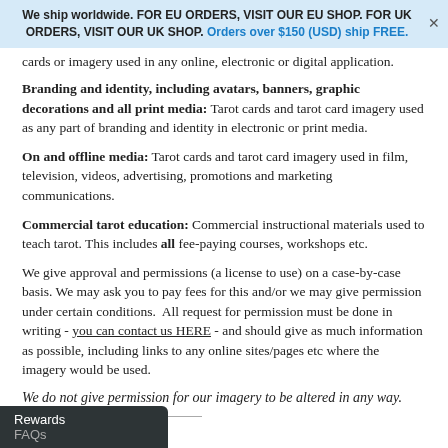We ship worldwide. FOR EU ORDERS, VISIT OUR EU SHOP. FOR UK ORDERS, VISIT OUR UK SHOP. Orders over $150 (USD) ship FREE.
cards or imagery used in any online, electronic or digital application.
Branding and identity, including avatars, banners, graphic decorations and all print media: Tarot cards and tarot card imagery used as any part of branding and identity in electronic or print media.
On and offline media: Tarot cards and tarot card imagery used in film, television, videos, advertising, promotions and marketing communications.
Commercial tarot education: Commercial instructional materials used to teach tarot. This includes all fee-paying courses, workshops etc.
We give approval and permissions (a license to use) on a case-by-case basis. We may ask you to pay fees for this and/or we may give permission under certain conditions. All request for permission must be done in writing - you can contact us HERE - and should give as much information as possible, including links to any online sites/pages etc where the imagery would be used.
We do not give permission for our imagery to be altered in any way.
Rewards
FAQs